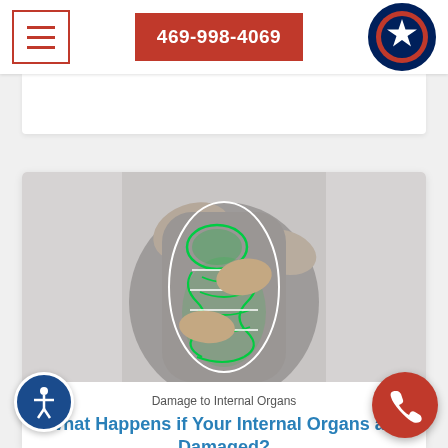469-998-4069
[Figure (photo): Person holding abdomen with glowing green anatomical illustration of internal organs overlaid on their torso]
Damage to Internal Organs
What Happens if Your Internal Organs are Damaged?